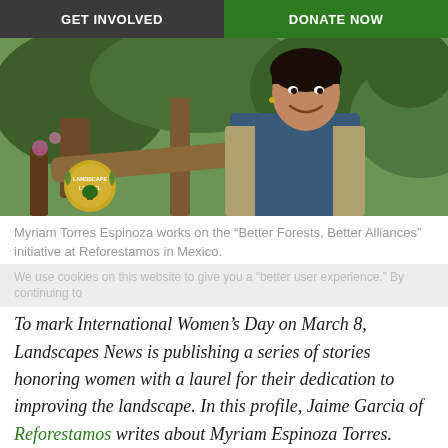GET INVOLVED | DONATE NOW
[Figure (photo): Outdoor photo of Myriam Torres Espinoza smiling, wearing a khaki vest over a blue shirt, standing in a forested area. A gold Landscape Laurel badge is visible in the lower left corner of the image.]
Myriam Torres Espinoza works on the “Better Forests, Better Alliances” initiative at Reforestamos in Mexico.
We use cookies on this website to give you a “better user experience.” By continuing to
To mark International Women’s Day on March 8, Landscapes News is publishing a series of stories honoring women with a laurel for their dedication to improving the landscape. In this profile, Jaime Garcia of Reforestamos writes about Myriam Espinoza Torres. Check Viewpoint all week for more
Accept